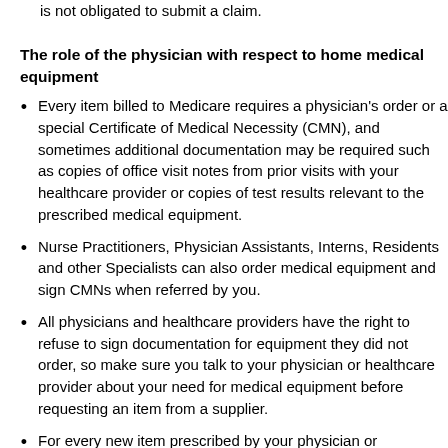is not obligated to submit a claim.
The role of the physician with respect to home medical equipment
Every item billed to Medicare requires a physician's order or a special Certificate of Medical Necessity (CMN), and sometimes additional documentation may be required such as copies of office visit notes from prior visits with your healthcare provider or copies of test results relevant to the prescribed medical equipment.
Nurse Practitioners, Physician Assistants, Interns, Residents and other Specialists can also order medical equipment and sign CMNs when referred by you.
All physicians and healthcare providers have the right to refuse to sign documentation for equipment they did not order, so make sure you talk to your physician or healthcare provider about your need for medical equipment before requesting an item from a supplier.
For every new item prescribed by your physician or healthcare provider, you should have a recent office visit that documents the reasons for ordering the products. Most items require you to have an in-person office visit with your healthcare provider to discuss the need and justification for the products.